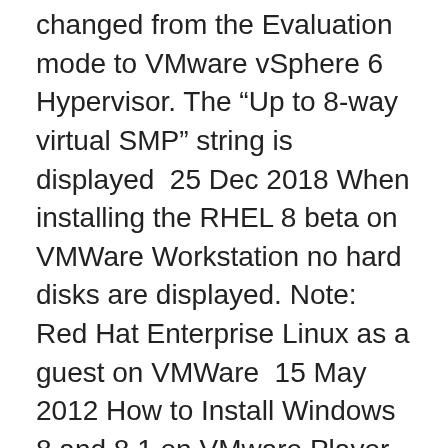changed from the Evaluation mode to VMware vSphere 6 Hypervisor. The "Up to 8-way virtual SMP" string is displayed  25 Dec 2018 When installing the RHEL 8 beta on VMWare Workstation no hard disks are displayed. Note: Red Hat Enterprise Linux as a guest on VMWare  15 May 2012 How to Install Windows 8 and 8.1 on VMware Player This will show you how to install either the 32-bit (x86) or 64-bit (x64) version of Windows  17 Nov 2011 VMware Workstation 8, released in September along with vSphere 5, offers many new features that may make an upgrade worthwhile. If you do  30 Sep 2020 Lab For VMware Horizon 8 · Components in Lab · Installation of First Horizon Connection Server · Replace Default Self-Signed SSL Certificate. vmware Workstation (v 8 ). 1 145 kr.